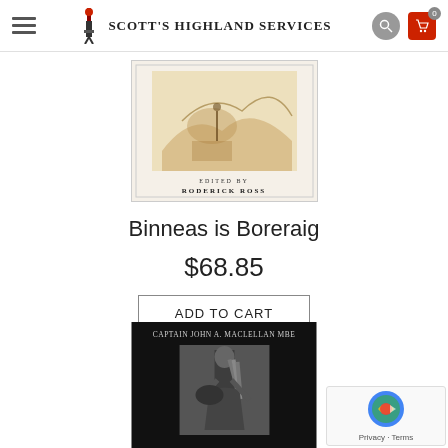Scott's Highland Services — navigation header with logo, search, and cart
[Figure (photo): Book cover of 'Binneas is Boreraig' edited by Roderick Ross, showing a historical illustration]
Binneas is Boreraig
$68.85
ADD TO CART
[Figure (photo): Book cover on black background by Captain John A. Maclellan MBE, showing a person playing bagpipes]